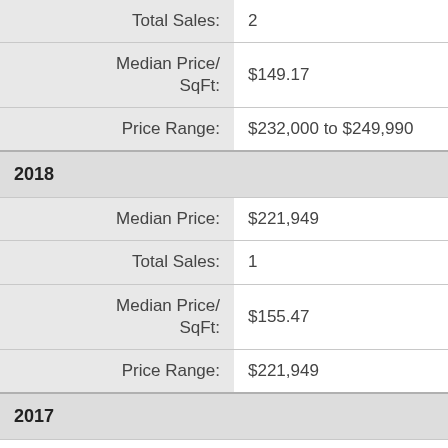| Field | Value |
| --- | --- |
| Total Sales: | 2 |
| Median Price/
SqFt: | $149.17 |
| Price Range: | $232,000 to $249,990 |
| 2018 |  |
| Median Price: | $221,949 |
| Total Sales: | 1 |
| Median Price/
SqFt: | $155.47 |
| Price Range: | $221,949 |
| 2017 |  |